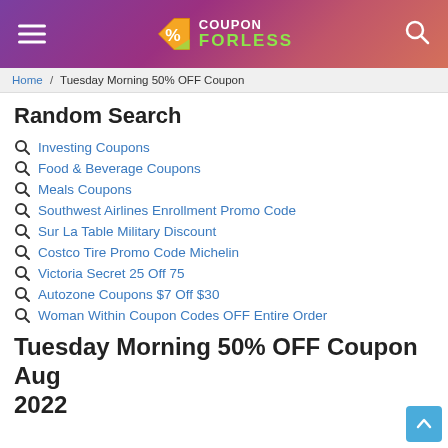COUPON FORLESS
Home / Tuesday Morning 50% OFF Coupon
Random Search
Investing Coupons
Food & Beverage Coupons
Meals Coupons
Southwest Airlines Enrollment Promo Code
Sur La Table Military Discount
Costco Tire Promo Code Michelin
Victoria Secret 25 Off 75
Autozone Coupons $7 Off $30
Woman Within Coupon Codes OFF Entire Order
Tuesday Morning 50% OFF Coupon Aug 2022